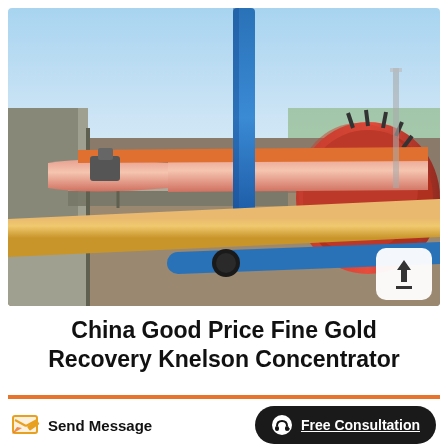[Figure (photo): Industrial photo of a gold concentrator / rotary drum machine at a mining facility. Large red cylindrical drum on the right, long pink/orange rotating cylinder extending to the left, blue vertical pipe in center, yellow insulated pipe in foreground, blue horizontal pipes, metal scaffolding structure, clear blue sky background.]
China Good Price Fine Gold Recovery Knelson Concentrator
Send Message
Free Consultation